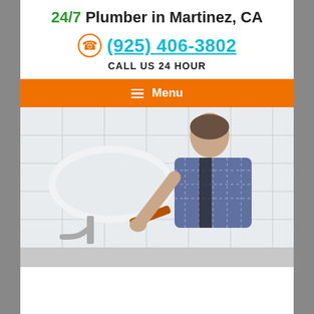24/7 Plumber in Martinez, CA
(925) 406-3802
CALL US 24 HOUR
Menu
[Figure (photo): A male plumber in a plaid shirt and overalls working under a bathroom sink, using a wrench on the pipes.]
[Figure (photo): Partial view of another section below.]